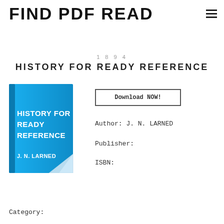FIND PDF READ
1894
HISTORY FOR READY REFERENCE
[Figure (illustration): Book cover image for 'History for Ready Reference' by J. N. Larned, blue cover with white text and a curled page corner effect]
Download NOW!
Author: J. N. LARNED
Publisher:
ISBN:
Category: